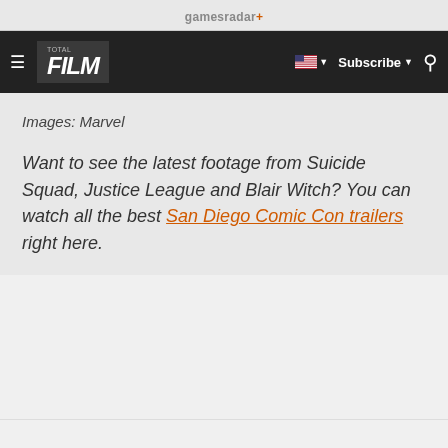gamesradar+
FILM | Subscribe | search
Images: Marvel
Want to see the latest footage from Suicide Squad, Justice League and Blair Witch? You can watch all the best San Diego Comic Con trailers right here.